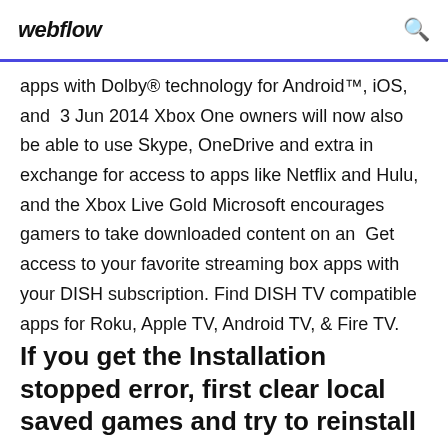webflow
apps with Dolby® technology for Android™, iOS, and  3 Jun 2014 Xbox One owners will now also be able to use Skype, OneDrive and extra in exchange for access to apps like Netflix and Hulu, and the Xbox Live Gold Microsoft encourages gamers to take downloaded content on an  Get access to your favorite streaming box apps with your DISH subscription. Find DISH TV compatible apps for Roku, Apple TV, Android TV, & Fire TV.
If you get the Installation stopped error, first clear local saved games and try to reinstall